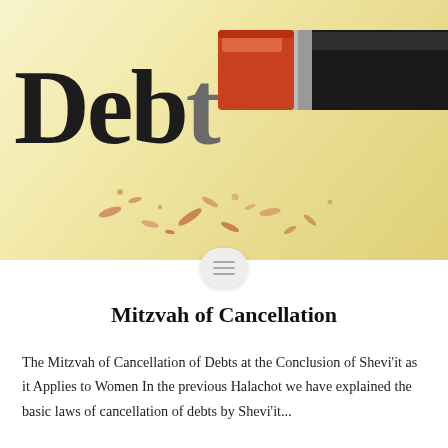[Figure (photo): A pencil eraser erasing the word 'Debt' on a cream-colored background, with eraser shavings scattered around]
Mitzvah of Cancellation
The Mitzvah of Cancellation of Debts at the Conclusion of Shevi'it as it Applies to Women In the previous Halachot we have explained the basic laws of cancellation of debts by Shevi'it...